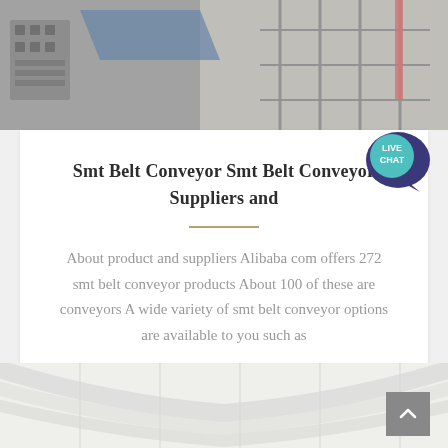[Figure (photo): Industrial conveyor or machinery equipment in a warehouse or factory setting]
Smt Belt Conveyor Smt Belt Conveyor Suppliers and
About product and suppliers Alibaba com offers 272 smt belt conveyor products About 100 of these are conveyors A wide variety of smt belt conveyor options are available to you such as
[Figure (photo): Interior of a large industrial building or warehouse with white roof structure]